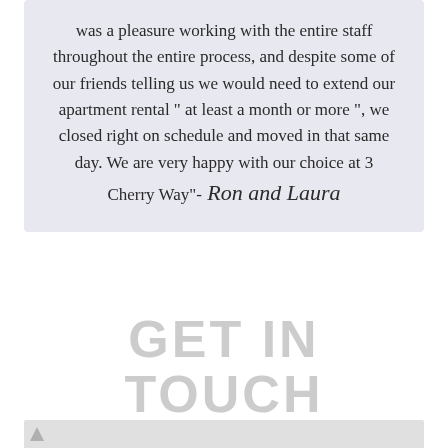was a pleasure working with the entire staff throughout the entire process, and despite some of our friends telling us we would need to extend our apartment rental " at least a month or more ", we closed right on schedule and moved in that same day. We are very happy with our choice at 3 Cherry Way"- Ron and Laura
GET IN TOUCH
We'd love to hear from you
[Figure (photo): Bottom strip showing partial image, appears to be a photo with a small mountain/triangle icon visible at left edge]